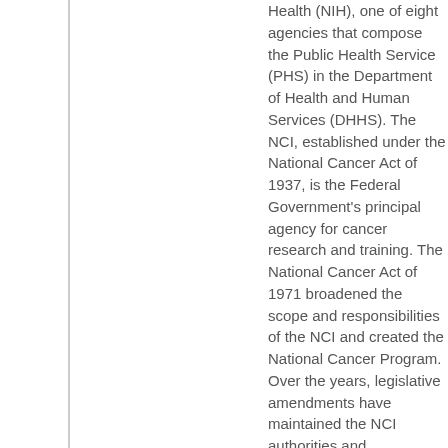Health (NIH), one of eight agencies that compose the Public Health Service (PHS) in the Department of Health and Human Services (DHHS). The NCI, established under the National Cancer Act of 1937, is the Federal Government's principal agency for cancer research and training. The National Cancer Act of 1971 broadened the scope and responsibilities of the NCI and created the National Cancer Program. Over the years, legislative amendments have maintained the NCI authorities and responsibilities and